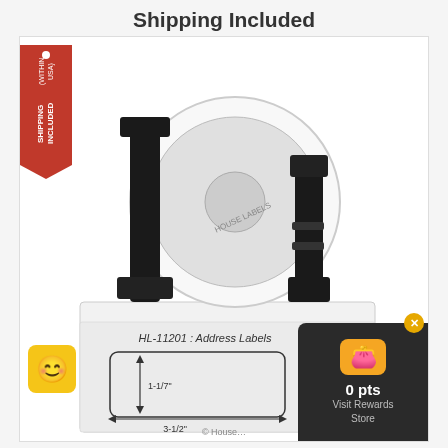Shipping Included
[Figure (photo): Label roll product photo mounted on black holder, sitting on white product box. Box shows diagram with dimensions 1-1/7" x 3-1/2" and text 'HL-11201 : Address Labels' with '400 labels'. Red 'SHIPPING INCLUDED (WITHIN USA)' badge on left side. Five empty star rating in top right corner. Yellow emoji mascot bottom left. Rewards card bottom right showing '0 pts Visit Rewards Store'.]